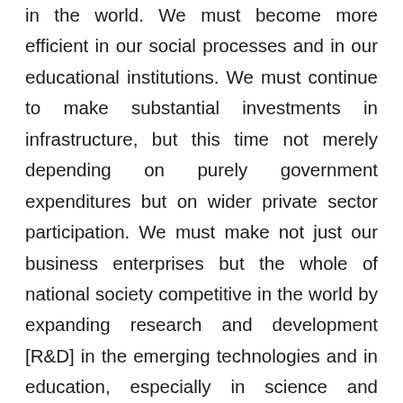in the world. We must become more efficient in our social processes and in our educational institutions. We must continue to make substantial investments in infrastructure, but this time not merely depending on purely government expenditures but on wider private sector participation. We must make not just our business enterprises but the whole of national society competitive in the world by expanding research and development [R&D] in the emerging technologies and in education, especially in science and technology at all levels. We must raise the productivity of our farms, our factories, our small and medium enterprises, our workers, and our managers—for we are now just recovering from the inefficiencies that marked our economy in past decades. In this regard, we shall soon be completing a national action agenda on productivity which I have instructed the National Economic Development